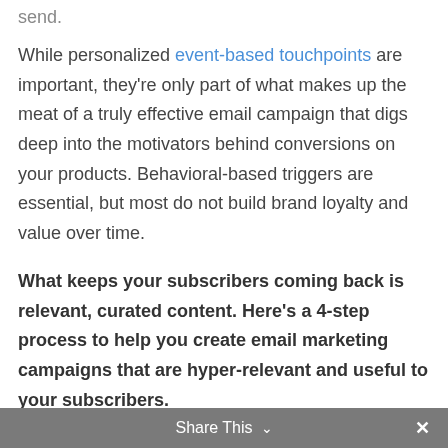send.
While personalized event-based touchpoints are important, they're only part of what makes up the meat of a truly effective email campaign that digs deep into the motivators behind conversions on your products. Behavioral-based triggers are essential, but most do not build brand loyalty and value over time.
What keeps your subscribers coming back is relevant, curated content. Here's a 4-step process to help you create email marketing campaigns that are hyper-relevant and useful to your subscribers.
Share This  ×